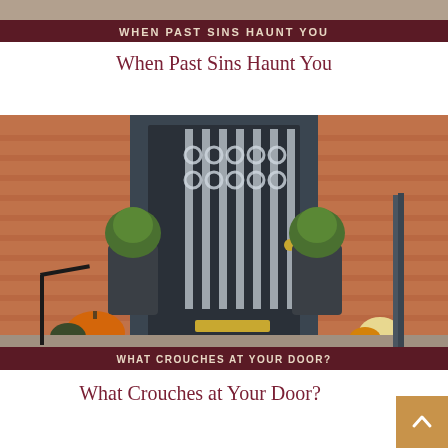[Figure (photo): Partial top of image showing text overlay 'WHEN PAST SINS HAUNT YOU' on dark maroon banner, cropped at top of page]
When Past Sins Haunt You
[Figure (photo): Photo of a grand front door of a brick house with ornate black iron gate/door, two dark potted topiary plants, Halloween pumpkins at base, with a dark maroon banner at the bottom reading 'WHAT CROUCHES AT YOUR DOOR?']
What Crouches at Your Door?